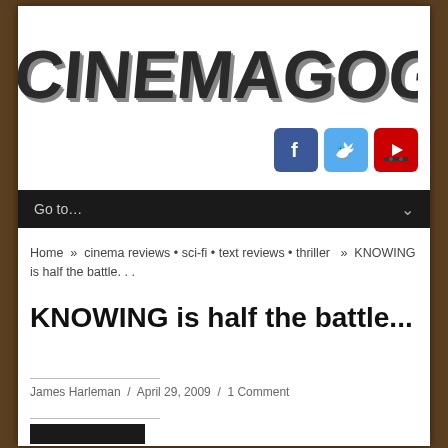[Figure (logo): CINEMAGOGUE logo in large bold 3D block letters]
[Figure (infographic): Three social media icons: Facebook (blue), Twitter (light blue), YouTube (red with play button)]
Go to...
Home » cinema reviews • sci-fi • text reviews • thriller » KNOWING is half the battle. . .
KNOWING is half the battle...
James Harleman / April 29, 2009 / 1 Comment